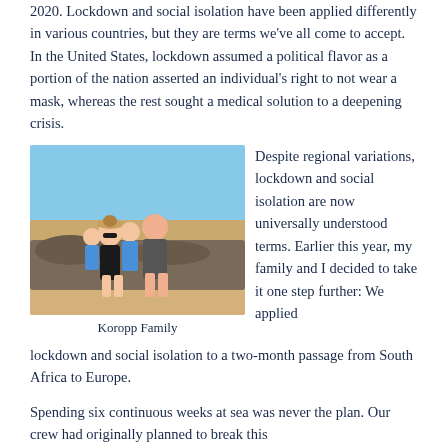2020. Lockdown and social isolation have been applied differently in various countries, but they are terms we've all come to accept. In the United States, lockdown assumed a political flavor as a portion of the nation asserted an individual's right to not wear a mask, whereas the rest sought a medical solution to a deepening crisis.
[Figure (photo): Family photo of the Koropp Family on a beach, two adults and two children in blue swimsuits/wetsuits sitting on rocks with sand and sky in background.]
Koropp Family
Despite regional variations, lockdown and social isolation are now universally understood terms. Earlier this year, my family and I decided to take it one step further: We applied lockdown and social isolation to a two-month passage from South Africa to Europe.
Spending six continuous weeks at sea was never the plan. Our crew had originally planned to break this...